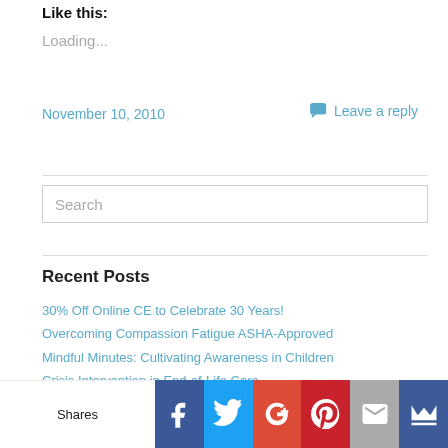Like this:
Loading...
November 10, 2010
Leave a reply
Search
Recent Posts
30% Off Online CE to Celebrate 30 Years!
Overcoming Compassion Fatigue ASHA-Approved
Mindful Minutes: Cultivating Awareness in Children
Crisis Intervention in End-of-Life Care
Suspected Child Maltreatment – New Video CE
Ethics for OTs – New Online CE Course
Shares